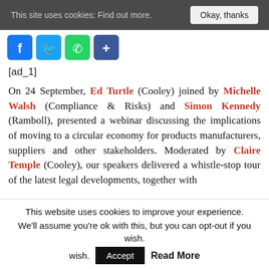This site uses cookies: Find out more. [Okay, thanks]
[Figure (other): Social media share icons: Facebook, Twitter, WhatsApp, and a generic share icon]
[ad_1]
On 24 September, Ed Turtle (Cooley) joined by Michelle Walsh (Compliance & Risks) and Simon Kennedy (Ramboll), presented a webinar discussing the implications of moving to a circular economy for products manufacturers, suppliers and other stakeholders. Moderated by Claire Temple (Cooley), our speakers delivered a whistle-stop tour of the latest legal developments, together with
This website uses cookies to improve your experience. We'll assume you're ok with this, but you can opt-out if you wish. Accept Read More